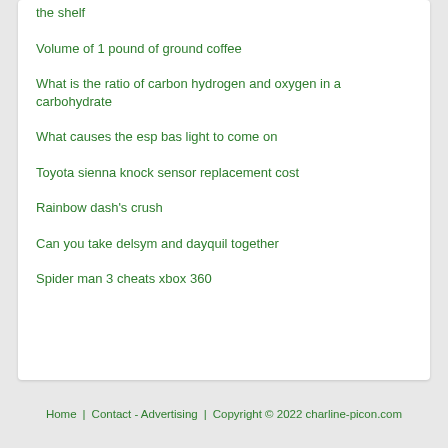the shelf
Volume of 1 pound of ground coffee
What is the ratio of carbon hydrogen and oxygen in a carbohydrate
What causes the esp bas light to come on
Toyota sienna knock sensor replacement cost
Rainbow dash's crush
Can you take delsym and dayquil together
Spider man 3 cheats xbox 360
Home   Contact - Advertising   Copyright © 2022 charline-picon.com